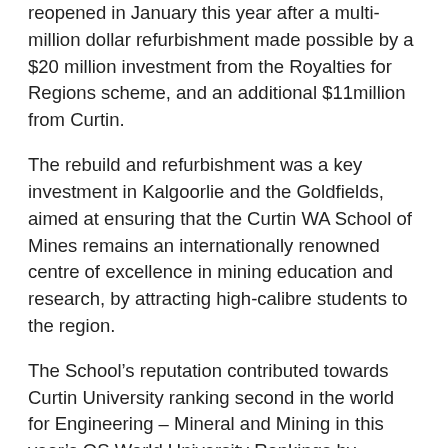reopened in January this year after a multi-million dollar refurbishment made possible by a $20 million investment from the Royalties for Regions scheme, and an additional $11million from Curtin.
The rebuild and refurbishment was a key investment in Kalgoorlie and the Goldfields, aimed at ensuring that the Curtin WA School of Mines remains an internationally renowned centre of excellence in mining education and research, by attracting high-calibre students to the region.
The School's reputation contributed towards Curtin University ranking second in the world for Engineering – Mineral and Mining in this year's QS World University Rankings by Subject.
“We hope the naming of Agricola’s Woodall Hall in honour of Dr Roy Woodall will in turn inspire the students who reside there to follow in his footsteps to great success in the resource and mining sector,” Professor Stelbovics said.